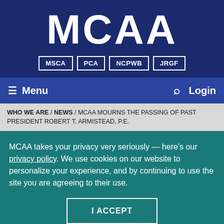[Figure (logo): MCAA logo with white bold text on dark navy background]
MSCA | PCA | NCPWB | JRGF
≡ Menu   🔍   Login
WHO WE ARE / NEWS / MCAA MOURNS THE PASSING OF PAST PRESIDENT ROBERT T. ARMISTEAD, P.E.
MCAA takes your privacy very seriously — here's our privacy policy. We use cookies on our website to personalize your experience, and by continuing to use the site you are agreeing to their use.
I ACCEPT